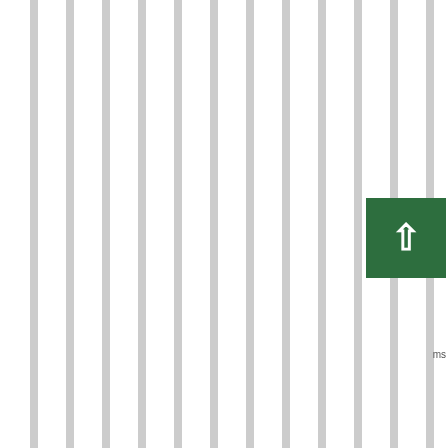[Figure (other): Vertical grey and white striped decorative background pattern on the left two-thirds of the page]
to gap-discipline and back of the play responsibilities. But if they're going to do that they need run-stuffing, attacking LB's like Kendricks (and I've heard mixed reports, but many folks